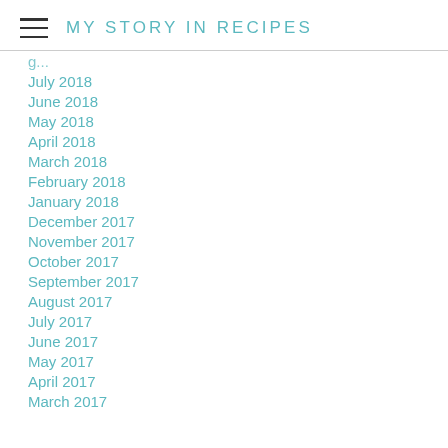MY STORY IN RECIPES
July 2018
June 2018
May 2018
April 2018
March 2018
February 2018
January 2018
December 2017
November 2017
October 2017
September 2017
August 2017
July 2017
June 2017
May 2017
April 2017
March 2017